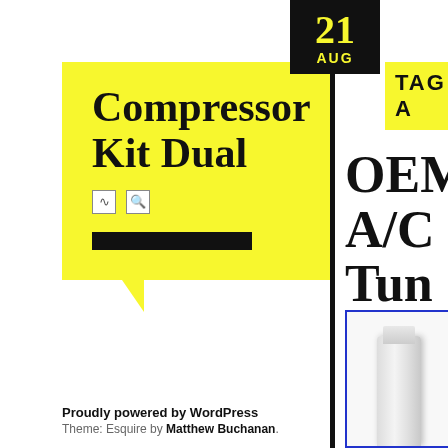Compressor Kit Dual
21 AUG
TAG A
OEM A/C Tun
[Figure (photo): Product photo of a tube/compressor kit inside a blue-bordered box]
Proudly powered by WordPress Theme: Esquire by Matthew Buchanan.